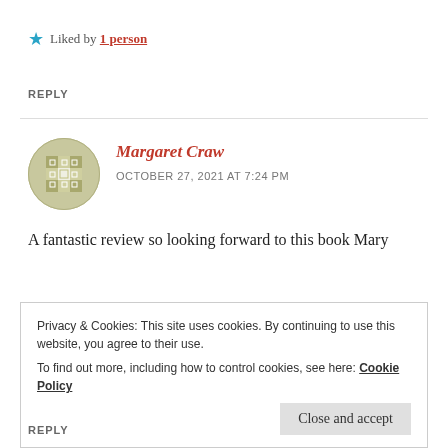★ Liked by 1 person
REPLY
[Figure (illustration): Circular avatar with a mosaic/checker pattern in olive/green tones]
Margaret Craw
OCTOBER 27, 2021 AT 7:24 PM
A fantastic review so looking forward to this book Mary
Privacy & Cookies: This site uses cookies. By continuing to use this website, you agree to their use.
To find out more, including how to control cookies, see here: Cookie Policy
Close and accept
REPLY